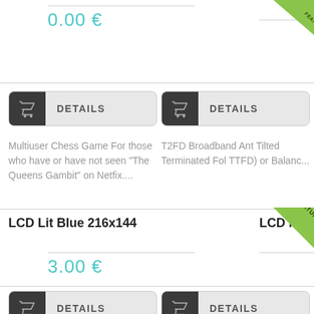0.00 €
[Figure (other): DETAILS button with shopping basket icon - left column]
[Figure (other): DETAILS button with shopping basket icon - right column]
Multiuser Chess Game For those who have or have not seen "The Queens Gambit" on Netfix....
T2FD Broadband Ant Tilted Terminated Fol TTFD) or Balanc...
LCD Lit Blue 216x144
[Figure (other): FEATURED ribbon/badge - green diagonal banner]
LCD Memory Lit Bl
3.00 €
[Figure (other): DETAILS button with shopping basket icon - left column]
[Figure (other): DETAILS button with shopping basket icon - right column]
LCD Lit Blue without Memory bank. Useful to work split QSO....
LCD Lit Blue with Me LCD Memory Plugin Display)  R-Rece...